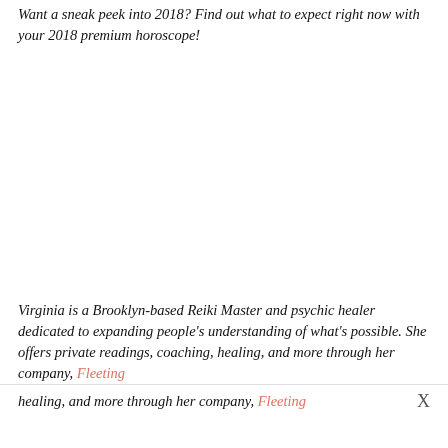Want a sneak peek into 2018? Find out what to expect right now with your 2018 premium horoscope!
Virginia is a Brooklyn-based Reiki Master and psychic healer dedicated to expanding people's understanding of what's possible. She offers private readings, coaching, healing, and more through her company, Fleeting